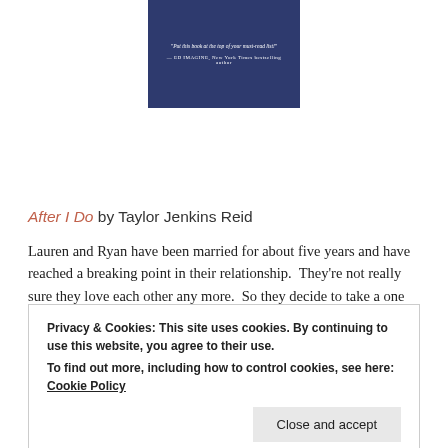[Figure (illustration): Book cover for 'After I Do' by Taylor Jenkins Reid — dark navy blue background with a quote in small white italic text and attribution below.]
After I Do by Taylor Jenkins Reid
Lauren and Ryan have been married for about five years and have reached a breaking point in their relationship.  They're not really sure they love each other any more.  So they decide to take a one year hiatus from their relationship and reevaluate after that break.  This
Privacy & Cookies: This site uses cookies. By continuing to use this website, you agree to their use.
To find out more, including how to control cookies, see here: Cookie Policy
Close and accept